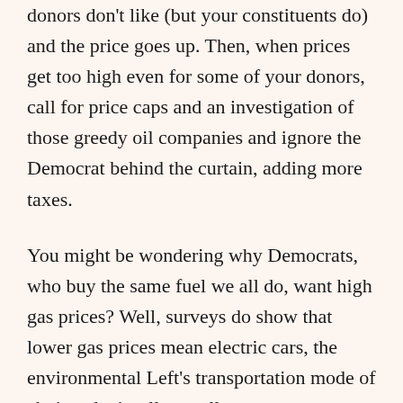donors don't like (but your constituents do) and the price goes up. Then, when prices get too high even for some of your donors, call for price caps and an investigation of those greedy oil companies and ignore the Democrat behind the curtain, adding more taxes.
You might be wondering why Democrats, who buy the same fuel we all do, want high gas prices? Well, surveys do show that lower gas prices mean electric cars, the environmental Left's transportation mode of choice, don't sell as well.
Go figure. Gas cars are cheaper than electric cars, so the Democrats just make gas much more